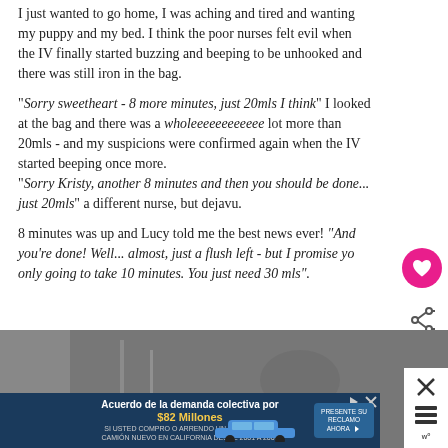I just wanted to go home, I was aching and tired and wanting my puppy and my bed. I think the poor nurses felt evil when the IV finally started buzzing and beeping to be unhooked and there was still iron in the bag.
"Sorry sweetheart - 8 more minutes, just 20mls I think" I looked at the bag and there was a wholeeeeeeeeeeee lot more than 20mls - and my suspicions were confirmed again when the IV started beeping once more.
"Sorry Kristy, another 8 minutes and then you should be done... just 20mls" a different nurse, but dejavu.
8 minutes was up and Lucy told me the best news ever! "And you're done! Well... almost, just a flush left - but I promise yo only going to take 10 minutes. You just need 30 mls".
WHAT'S NEXT → Wedding: The Invitations
[Figure (photo): Bottom portion of page showing a photo partially visible and an advertisement overlay for a class action lawsuit settlement: 'Acuerdo de la demanda colectiva por $82 Millones - SI USTED COMPRO O ARRENDO UN AUTOMOVIL O CAMION NUEVO EN CALIFORNIA DESDE 2001 A 2003' with a car image and 'PRESENTE SU RECLAMO AHORA' button]